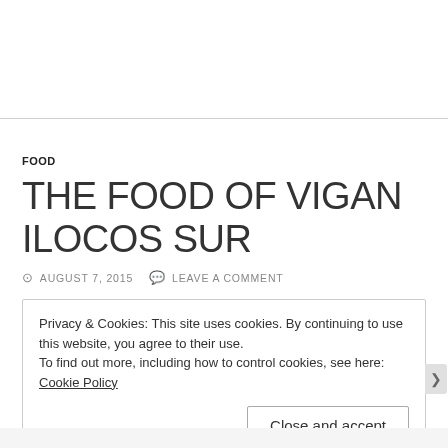FOOD
THE FOOD OF VIGAN ILOCOS SUR
⊙ AUGUST 7, 2015   💬 LEAVE A COMMENT
Privacy & Cookies: This site uses cookies. By continuing to use this website, you agree to their use.
To find out more, including how to control cookies, see here: Cookie Policy
Close and accept